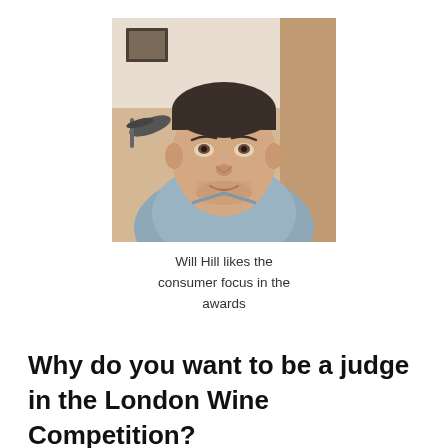[Figure (photo): A man in a light blue shirt takes a selfie. He has short dark hair and light stubble. The background shows a room with a bicycle and a framed picture on the wall.]
Will Hill likes the consumer focus in the awards
Why do you want to be a judge in the London Wine Competition?